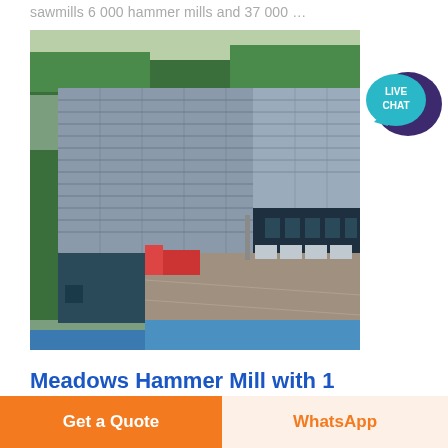sawmills 6 000 hammer mills and 37 000 …
[Figure (photo): Aerial drone view of a large industrial factory complex with grey metal roofed warehouse buildings, a courtyard with trucks parked, surrounded by trees, in China.]
[Figure (other): LIVE CHAT speech bubble widget icon in teal/dark blue color with a purple speech bubble background.]
Meadows Hammer Mill with 1
Get a Quote
WhatsApp